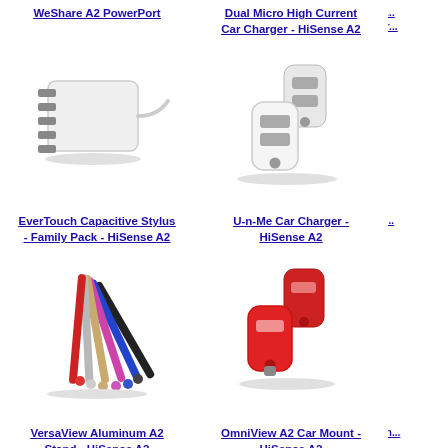[Figure (photo): WeShare A2 PowerPort - white multi-port USB charger with cable]
[Figure (photo): Dual Micro High Current Car Charger - HiSense A2 - two white dual-port USB car chargers]
[Figure (photo): EverTouch Capacitive Stylus - Family Pack - HiSense A2 - multiple colored stylus pens]
[Figure (photo): U-n-Me Car Charger - HiSense A2 - red dual USB car charger]
VersaView Aluminum A2 Stand - HiSense A2
OmniView A2 Car Mount - HiSense A2
Han...